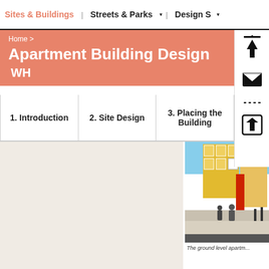Sites & Buildings  |  Streets & Parks  |  Design S...
Home >
Apartment Building Design
1. Introduction
2. Site Design
3. Placing the Building
[Figure (photo): Street-level view of a modern apartment building with yellow facade panels and a red structure, people walking in foreground]
The ground level apartm...